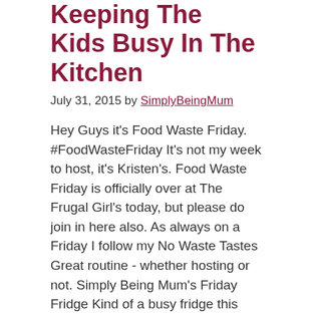Keeping The Kids Busy In The Kitchen
July 31, 2015 by SimplyBeingMum
Hey Guys it's Food Waste Friday. #FoodWasteFriday It's not my week to host, it's Kristen's. Food Waste Friday is officially over at The Frugal Girl's today, but please do join in here also. As always on a Friday I follow my No Waste Tastes Great routine - whether hosting or not. Simply Being Mum's Friday Fridge Kind of a busy fridge this Friday. ...
The Camera Really Does Add